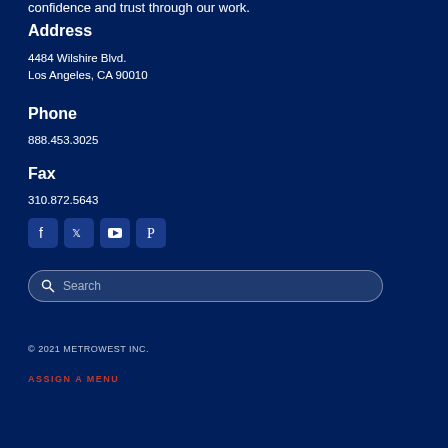confidence and trust through our work.
Address
4484 Wilshire Blvd.
Los Angeles, CA 90010
Phone
888.453.3025
Fax
310.872.5643
[Figure (other): Social media icons: Facebook, Twitter, YouTube, Pinterest]
[Figure (other): Search box with magnifying glass icon and placeholder text 'Search']
© 2021 METROWEST INC.
ASSIGN A MENU